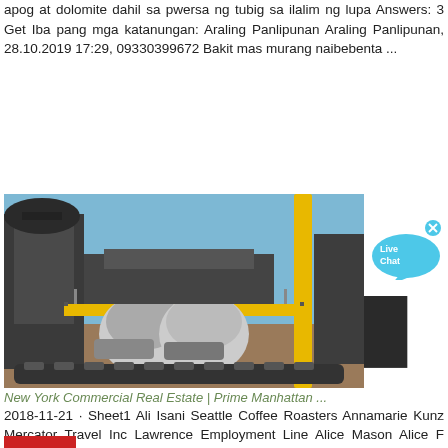apog at dolomite dahil sa pwersa ng tubig sa ilalim ng lupa Answers: 3 Get Iba pang mga katanungan: Araling Panlipunan Araling Panlipunan, 28.10.2019 17:29, 09330399672 Bakit mas murang naibebenta ...
[Figure (other): Contact banner: red box with envelope icon on left, dark background with bold white text MAKIPAG-UGNAYAN SA AMIN]
[Figure (photo): Industrial mining or crushing equipment with yellow vertical pillar, black metal structures, conveyor systems, blue sky background]
[Figure (other): Live Chat speech bubble overlay in cyan/light blue with white text Live Chat and X close button]
New York Commercial Real Estate | Prime Manhattan ...
2018-11-21 · Sheet1 Ali Isani Seattle Coffee Roasters Annamarie Kunz Mercator Travel Inc Lawrence Employment Line Alice Mason Alice F Mason Amanda Moore Re Place Neil Abramson
[Figure (other): Partial red banner visible at bottom of page]